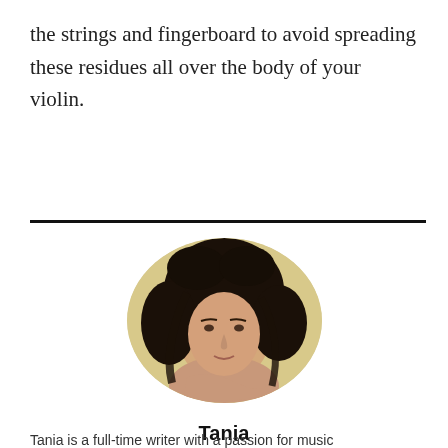the strings and fingerboard to avoid spreading these residues all over the body of your violin.
[Figure (photo): Oval portrait photo of a woman named Tania with curly dark hair, positioned below a horizontal divider line.]
Tania
Tania is a full-time writer with a passion for music